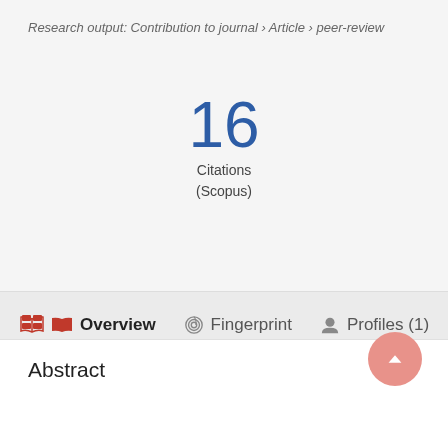Research output: Contribution to journal › Article › peer-review
16
Citations
(Scopus)
Overview   Fingerprint   Profiles (1)
Abstract